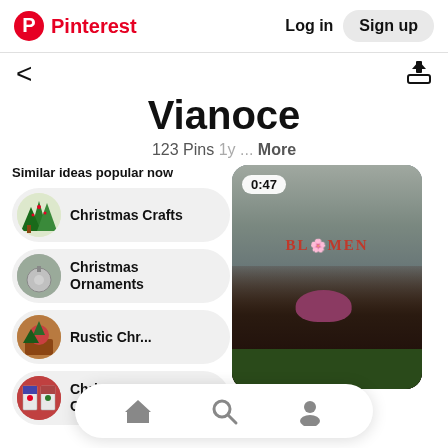Pinterest  Log in  Sign up
Vianoce
123 Pins  1y  ...  More
Similar ideas popular now
Christmas Crafts
Christmas Ornaments
Rustic Chr...
Christmas Crafts
[Figure (screenshot): Video thumbnail showing a person in a burgundy hat working on a wooden sign that reads BLUMEN, with greenery, duration 0:47]
[Figure (screenshot): Bottom navigation bar with home, search, and profile icons]